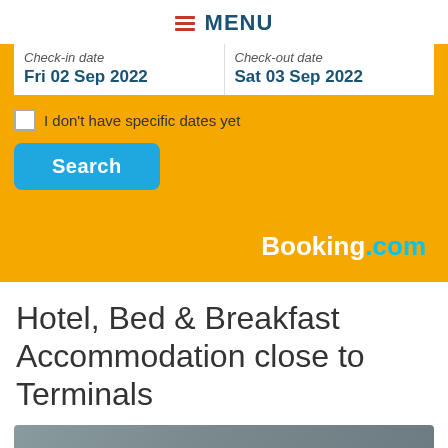≡ MENU
[Figure (screenshot): Booking.com search widget with yellow background showing Check-in date Fri 02 Sep 2022 and Check-out date Sat 03 Sep 2022, a checkbox for 'I don't have specific dates yet', a Search button, and the Booking.com logo]
Hotel, Bed & Breakfast Accommodation close to Terminals
[Figure (photo): Partial image strip at the bottom of the page]